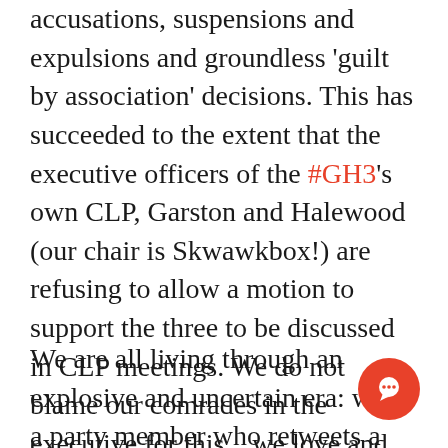accusations, suspensions and expulsions and groundless 'guilt by association' decisions. This has succeeded to the extent that the executive officers of the #GH3's own CLP, Garston and Halewood (our chair is Skwawkbox!) are refusing to allow a motion to support the three to be discussed in CLP meetings. We do not blame our comrades in the executive for this... we love and respect them and we understand the caution and fear they feel.
We are all living through an explosive and uncertain era: when a party member who retweets a Green MP calls a Labour MP a 'Blairite' can be